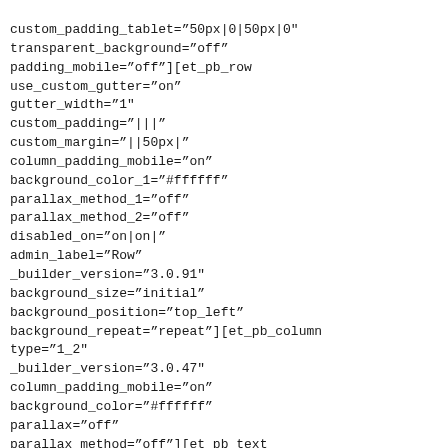custom_padding_tablet=&#8221;50px|0|50px|0&#8243;
transparent_background=&#8221;off&#8221;
padding_mobile=&#8221;off&#8221;][et_pb_row
use_custom_gutter=&#8221;on&#8221;
gutter_width=&#8221;1&#8243;
custom_padding=&#8221;|||&#8221;
custom_margin=&#8221;||50px|&#8221;
column_padding_mobile=&#8221;on&#8221;
background_color_1=&#8221;#ffffff&#8221;
parallax_method_1=&#8221;off&#8221;
parallax_method_2=&#8221;off&#8221;
disabled_on=&#8221;on|on|&#8221;
admin_label=&#8221;Row&#8221;
_builder_version=&#8221;3.0.91&#8243;
background_size=&#8221;initial&#8221;
background_position=&#8221;top_left&#8221;
background_repeat=&#8221;repeat&#8221;][et_pb_column
type=&#8221;1_2&#8243;
_builder_version=&#8221;3.0.47&#8243;
column_padding_mobile=&#8221;on&#8221;
background_color=&#8221;#ffffff&#8221;
parallax=&#8221;off&#8221;
parallax_method=&#8221;off&#8221;][et_pb_text
admin_label=&#8221;So\u011futma, \u0131s\u0131tma,
klima ve havaland\u0131rma sistemleri&#8221;
_builder_version=&#8221;3.0.92&#8243;
text_font=&#8221;Roboto Light|100||||||||&#8221;
text_font_size=&#8221;45px&#8221;
text_text_color=&#8221;#d71920&#8243;
text_line_height=&#8221;1.1em&#8221;